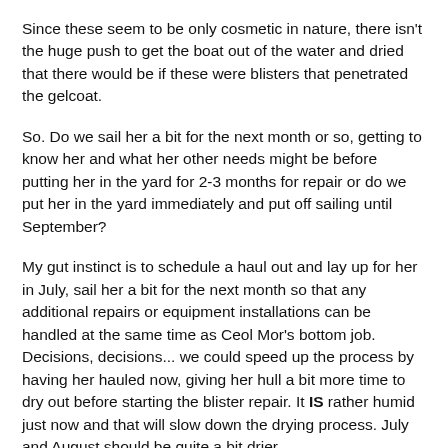Since these seem to be only cosmetic in nature, there isn't the huge push to get the boat out of the water and dried that there would be if these were blisters that penetrated the gelcoat.
So. Do we sail her a bit for the next month or so, getting to know her and what her other needs might be before putting her in the yard for 2-3 months for repair or do we put her in the yard immediately and put off sailing until September?
My gut instinct is to schedule a haul out and lay up for her in July, sail her a bit for the next month so that any additional repairs or equipment installations can be handled at the same time as Ceol Mor's bottom job. Decisions, decisions... we could speed up the process by having her hauled now, giving her hull a bit more time to dry out before starting the blister repair. It IS rather humid just now and that will slow down the drying process. July and August should be quite a bit drier.